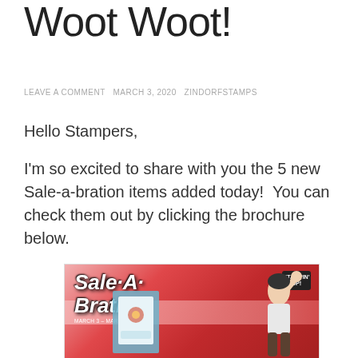Woot Woot!
LEAVE A COMMENT  MARCH 3, 2020  ZINDORFSTAMPS
Hello Stampers,
I'm so excited to share with you the 5 new Sale-a-bration items added today!  You can check them out by clicking the brochure below.
[Figure (illustration): Sale-A-Bration brochure cover image showing the Sale-A-Bration logo text on a red/pink background with a woman raising her fist in celebration and a greeting card on the left. A Stampin' Up! logo badge is in the upper right. Text reads 'MARCH 3 - MARCH 31, 2020'.]